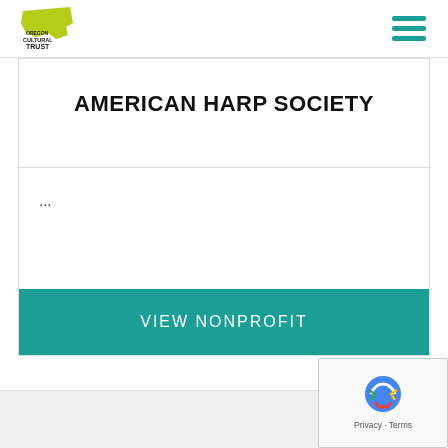Oregon Cultural Trust - Logo and navigation
AMERICAN HARP SOCIETY
...
VIEW NONPROFIT
[Figure (screenshot): Partial view of another card below, and reCAPTCHA widget in bottom-right corner showing Privacy and Terms links]